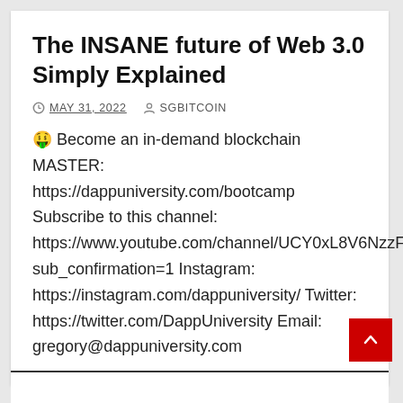The INSANE future of Web 3.0 Simply Explained
MAY 31, 2022   SGBITCOIN
🤑 Become an in-demand blockchain MASTER: https://dappuniversity.com/bootcamp Subscribe to this channel: https://www.youtube.com/channel/UCY0xL8V6NzzFcwzHCgB8orQ?sub_confirmation=1 Instagram: https://instagram.com/dappuniversity/ Twitter: https://twitter.com/DappUniversity Email: gregory@dappuniversity.com